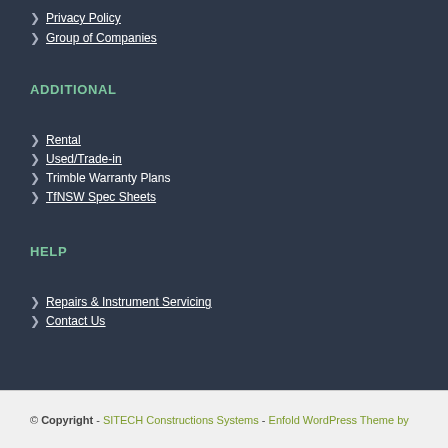Privacy Policy
Group of Companies
ADDITIONAL
Rental
Used/Trade-in
Trimble Warranty Plans
TfNSW Spec Sheets
HELP
Repairs & Instrument Servicing
Contact Us
© Copyright - SITECH Constructions Systems - Enfold WordPress Theme by